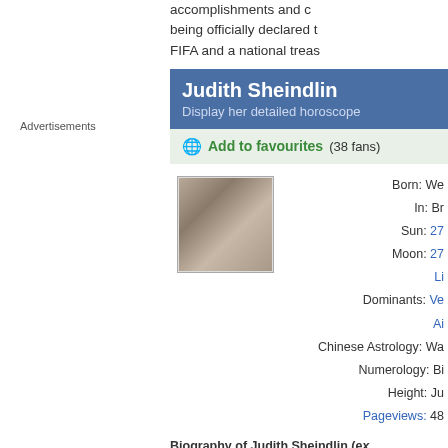accomplishments and c... being officially declared t... FIFA and a national treas...
Advertisements
Judith Sheindlin
Display her detailed horoscope
Add to favourites (38 fans)
[Figure (photo): Photo of Judith Sheindlin - a woman standing in front of a dark background]
Born: We...
In: Br...
Sun: 27...
Moon: 27...
Li...
Dominants: Ve...
Ai...
Chinese Astrology: Wa...
Numerology: Bi...
Height: Ju...
Pageviews: 48...
Biography of Judith Sheindlin (ex...
Judith Sheindlin (born Oc...